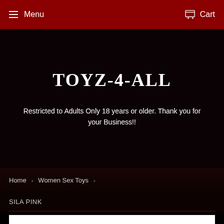Menu   Cart
TOYZ-4-ALL
Restricted to Adults Only 18 years or older. Thank you for your Business!!
Home › Women Sex Toys ›
SILA PINK
[Figure (photo): White product image area at bottom of page]